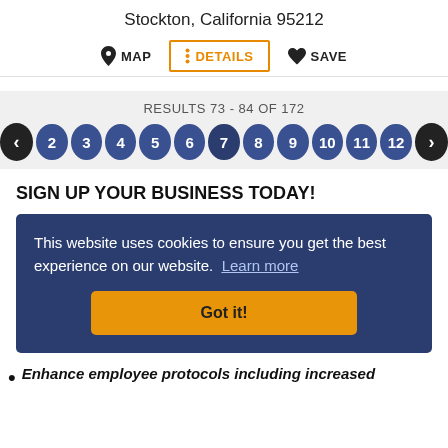Stockton, California 95212
MAP   DETAILS   SAVE
RESULTS 73 - 84 OF 172
2 3 4 5 6 7 8 9 10 11 12
SIGN UP YOUR BUSINESS TODAY!
This website uses cookies to ensure you get the best experience on our website. Learn more
Got it!
Enhance employee protocols including increased